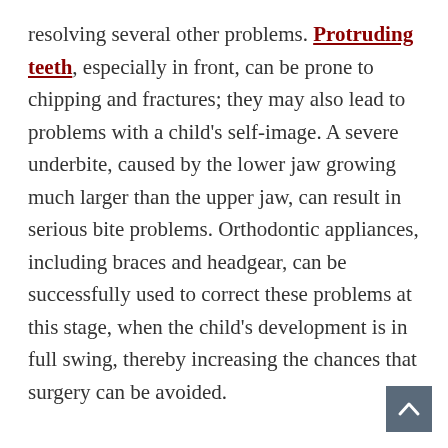resolving several other problems. Protruding teeth, especially in front, can be prone to chipping and fractures; they may also lead to problems with a child's self-image. A severe underbite, caused by the lower jaw growing much larger than the upper jaw, can result in serious bite problems. Orthodontic appliances, including braces and headgear, can be successfully used to correct these problems at this stage, when the child's development is in full swing, thereby increasing the chances that surgery can be avoided.